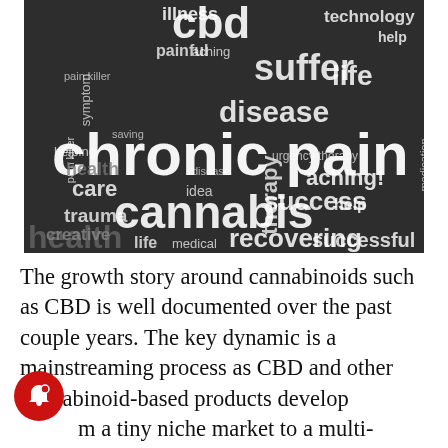[Figure (infographic): Word cloud on dark grey background featuring cannabis and CBD related health terms. Prominent words include: chronic pain, cannabis, cbd, disease, suffer, recovering, successful, health, therapy, care, trauma, creative, aching, success, help, life, technology, safety, hospice, recovery, medication, painful, symptom, illness, pain killer, medical, life, helping]
The growth story around cannabinoids such as CBD is well documented over the past couple years. The key dynamic is a mainstreaming process as CBD and other cannabinoid-based products develop from a tiny niche market to a multi-billion-dollar global juggernaut. According to